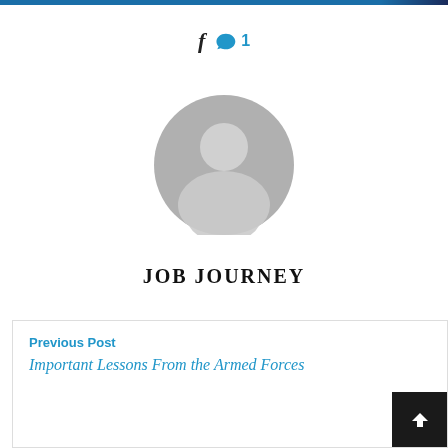[Figure (other): Social sharing icons: Facebook icon (f) and a blue speech bubble with comment count 1]
[Figure (illustration): Generic gray user avatar silhouette in a circle]
JOB JOURNEY
Previous Post
Important Lessons From the Armed Forces